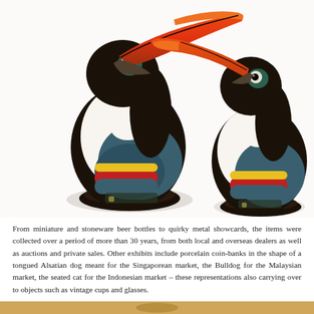[Figure (photo): Two colorful ceramic toucan figurines/jugs photographed against a white background. The toucans have large orange-red beaks, black and white bodies with blue, red, and yellow decorative feather details, and black bases. The left toucan is slightly larger and faces right; the right toucan also faces left toward the first.]
From miniature and stoneware beer bottles to quirky metal showcards, the items were collected over a period of more than 30 years, from both local and overseas dealers as well as auctions and private sales. Other exhibits include porcelain coin-banks in the shape of a tongued Alsatian dog meant for the Singaporean market, the Bulldog for the Malaysian market, the seated cat for the Indonesian market – these representations also carrying over to objects such as vintage cups and glasses.
[Figure (photo): Partial view of another exhibit at the bottom of the page, showing a golden/amber colored background with an indistinct object.]